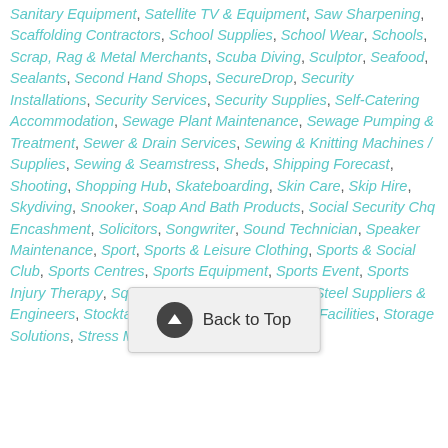Sanitary Equipment, Satellite TV & Equipment, Saw Sharpening, Scaffolding Contractors, School Supplies, School Wear, Schools, Scrap, Rag & Metal Merchants, Scuba Diving, Sculptor, Seafood, Sealants, Second Hand Shops, SecureDrop, Security Installations, Security Services, Security Supplies, Self-Catering Accommodation, Sewage Plant Maintenance, Sewage Pumping & Treatment, Sewer & Drain Services, Sewing & Knitting Machines / Supplies, Sewing & Seamstress, Sheds, Shipping Forecast, Shooting, Shopping Hub, Skateboarding, Skin Care, Skip Hire, Skydiving, Snooker, Soap And Bath Products, Social Security Chq Encashment, Solicitors, Songwriter, Sound Technician, Speaker Maintenance, Sport, Sports & Leisure Clothing, Sports & Social Club, Sports Centres, Sports Equipment, Sports Event, Sports Injury Therapy, Squash & Racquet Ball Courts, Steel Suppliers & Engineers, Stocktakers, Stonemasons, Storage Facilities, Storage Solutions, Stress Management, Structural